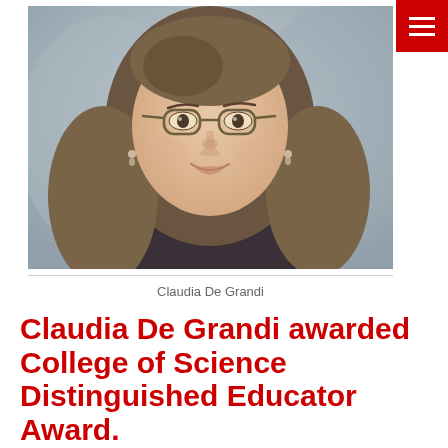[Figure (photo): Portrait photo of Claudia De Grandi, a woman with long brown hair, glasses, and pearl earrings, wearing a dark jacket, smiling at the camera.]
Claudia De Grandi
Claudia De Grandi awarded College of Science Distinguished Educator Award.